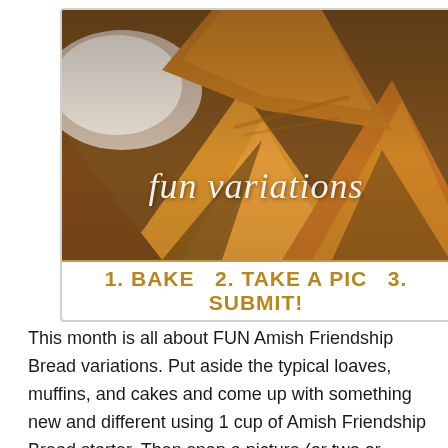[Figure (photo): Close-up photo of golden-brown baked Amish Friendship Bread pieces with the text 'fun variations' overlaid in white italic script, and a white strip at the bottom reading '1. BAKE  2. TAKE A PIC  3. SUBMIT!']
This month is all about FUN Amish Friendship Bread variations. Put aside the typical loaves, muffins, and cakes and come up with something new and different using 1 cup of Amish Friendship Bread starter. Then snap a picture (or two or three) and submit it before 5/25/13. The winner will receive a $10 Amazon gift card and all qualifying participants will